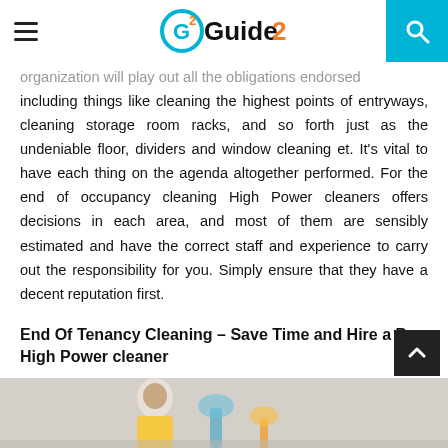Guide2 — navigation header with logo and search
organization will play out all the obligations endorsed including things like cleaning the highest points of entryways, cleaning storage room racks, and so forth just as the undeniable floor, dividers and window cleaning et. It's vital to have each thing on the agenda altogether performed. For the end of occupancy cleaning High Power cleaners offers decisions in each area, and most of them are sensibly estimated and have the correct staff and experience to carry out the responsibility for you. Simply ensure that they have a decent reputation first.
End Of Tenancy Cleaning – Save Time and Hire a Pro High Power cleaner
[Figure (photo): Photo showing a person cleaning, partially visible at the bottom of the page]